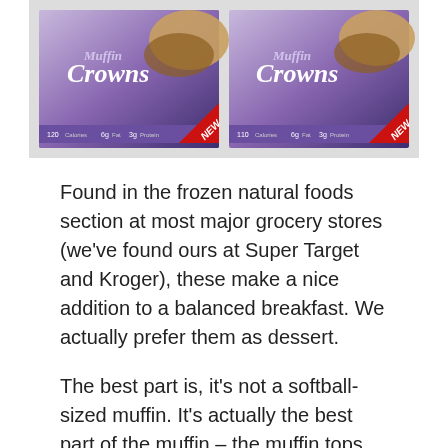[Figure (photo): Two boxes of Van's Muffin Crowns products shown side by side, with purple packaging and 'NEW' red badge banners, showing muffin crowns on the boxes.]
Found in the frozen natural foods section at most major grocery stores (we've found ours at Super Target and Kroger), these make a nice addition to a balanced breakfast. We actually prefer them as dessert.
The best part is, it's not a softball-sized muffin. It's actually the best part of the muffin – the muffin tops, or as Van's calls them, muffin crowns. In a portion-crazed world, these are just right for a quick breakfast, a snack, or a dessert.
They stay frozen, and a quick toss in the microwave tastes like you just pulled them out of your grandmother's oven. Currently there are two flavors to